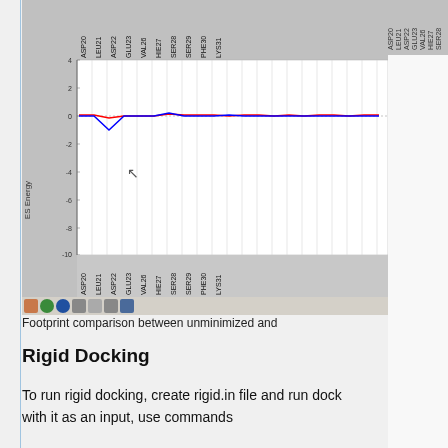[Figure (screenshot): Screenshot of a molecular docking footprint comparison chart showing ES Energy vs residues (ASP20, LEU21, ASP22, GLU23, VAL26, HIE27, SER28, SER29, PHE30, LYS31) with red and blue lines near zero with a dip around LEU21/ASP22 region. Y-axis ranges from -10 to 4. Application toolbar and taskbar visible at bottom.]
Footprint comparison between unminimized and
Rigid Docking
To run rigid docking, create rigid.in file and run dock with it as an input, use commands